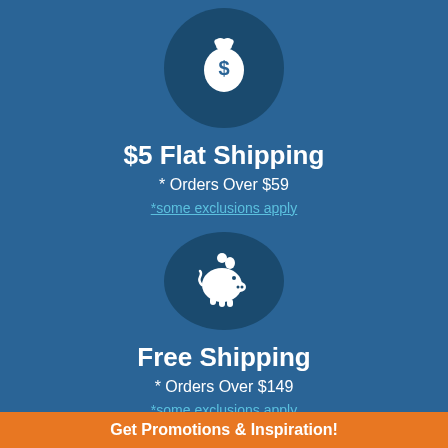[Figure (illustration): White money bag with dollar sign icon inside a dark blue circle]
$5 Flat Shipping
* Orders Over $59
*some exclusions apply
[Figure (illustration): White piggy bank icon inside a dark blue circle]
Free Shipping
* Orders Over $149
*some exclusions apply
Get Promotions & Inspiration!